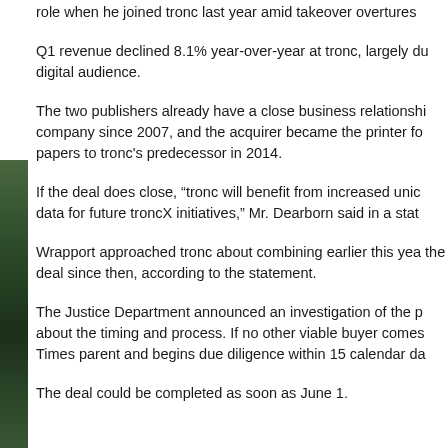role when he joined tronc last year amid takeover overtures
Q1 revenue declined 8.1% year-over-year at tronc, largely due to digital audience.
The two publishers already have a close business relationship, company since 2007, and the acquirer became the printer for papers to tronc's predecessor in 2014.
If the deal does close, “tronc will benefit from increased union data for future troncX initiatives,” Mr. Dearborn said in a stat
Wrapport approached tronc about combining earlier this year, the deal since then, according to the statement.
The Justice Department announced an investigation of the p about the timing and process. If no other viable buyer comes Times parent and begins due diligence within 15 calendar da
The deal could be completed as soon as June 1.